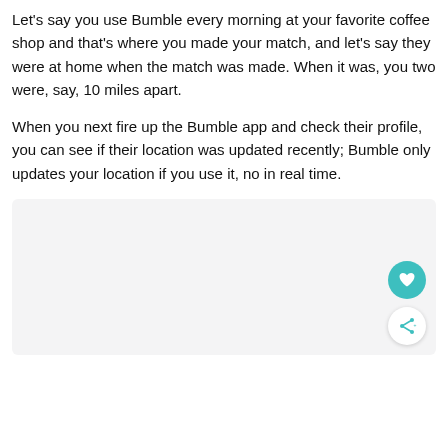Let's say you use Bumble every morning at your favorite coffee shop and that's where you made your match, and let's say they were at home when the match was made. When it was, you two were, say, 10 miles apart.
When you next fire up the Bumble app and check their profile, you can see if their location was updated recently; Bumble only updates your location if you use it, no in real time.
[Figure (screenshot): Light gray rectangular area with a teal heart button and a white share button in the bottom-right corner.]